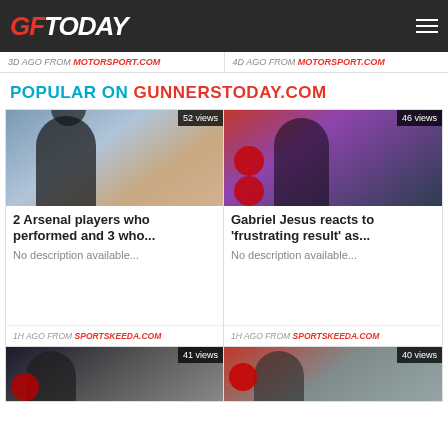GFToday
3D AGO FROM MOTORSPORT.COM | 4D AGO FROM MOTORSPORT.COM
POPULAR ON GUNNERSTODAY.COM
[Figure (photo): Arsenal manager Arteta holding his head, crowd in background. Badge: 52 views.]
2 Arsenal players who performed and 3 who...
No description available...
1H AGO FROM SPORTSKEEDA.COM
[Figure (photo): Gabriel Jesus in black Arsenal kit, Manchester United and Arsenal logos visible. Badge: 46 views.]
Gabriel Jesus reacts to ‘frustrating result’ as...
No description available...
1H AGO FROM SPORTSKEEDA.COM
[Figure (photo): Man in dark jacket, Manchester United logo. Badge: 41 views.]
[Figure (photo): Player applauding, Arsenal logo. Badge: 40 views.]